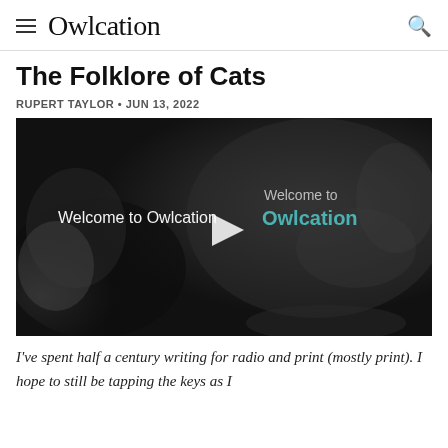Owlcation
The Folklore of Cats
RUPERT TAYLOR • JUN 13, 2022
[Figure (screenshot): Video player thumbnail with dark background showing a cat, overlaid with text 'Welcome to Owlcation' on the left and 'Welcome to Owlcation' branded text on the right, with a play button triangle in the center.]
I've spent half a century writing for radio and print (mostly print). I hope to still be tapping the keys as I